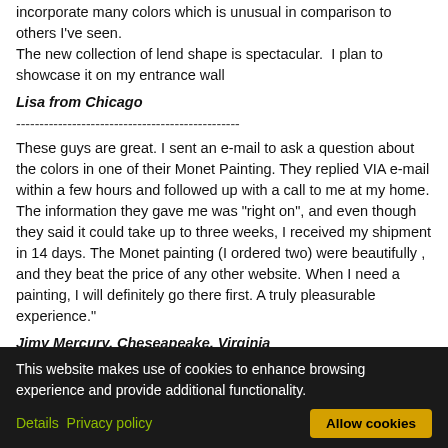incorporate many colors which is unusual in comparison to others I've seen.
The new collection of lend shape is spectacular.  I plan to showcase it on my entrance wall
Lisa from Chicago
------------------------------------------------
These guys are great. I sent an e-mail to ask a question about the colors in one of their Monet Painting. They replied VIA e-mail within a few hours and followed up with a call to me at my home. The information they gave me was "right on", and even though they said it could take up to three weeks, I received my shipment in 14 days. The Monet painting (I ordered two) were beautifully , and they beat the price of any other website. When I need a painting, I will definitely go there first. A truly pleasurable experience."
Jimy Mercury, Cheseapeake, Virginia
------------------------------------------------
Easy to order, prompt delivery, excellent packaging and very pleased with...
This website makes use of cookies to enhance browsing experience and provide additional functionality.  Details  Privacy policy  Allow cookies